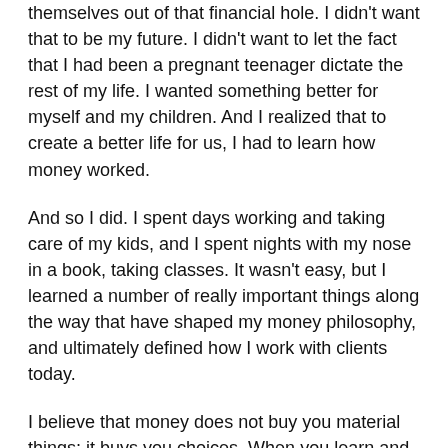themselves out of that financial hole. I didn't want that to be my future. I didn't want to let the fact that I had been a pregnant teenager dictate the rest of my life. I wanted something better for myself and my children. And I realized that to create a better life for us, I had to learn how money worked.
And so I did. I spent days working and taking care of my kids, and I spent nights with my nose in a book, taking classes. It wasn't easy, but I learned a number of really important things along the way that have shaped my money philosophy, and ultimately defined how I work with clients today.
I believe that money does not buy you material things; it buys you choices. When you learn and appreciate the value and the freedom those choices afford you, you can approach your financial philosophy—and your life—in a whole new way. I have used that approach to create value for